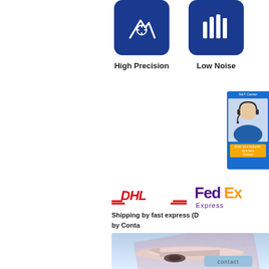[Figure (illustration): Blue rounded square icon with white mountain/crosshair graphic for High Precision]
High Precision
[Figure (illustration): Blue rounded square icon with white vertical bars graphic for Low Noise]
Low Noise
[Figure (illustration): Customer service chat widget on the right side showing agent photo and contact button]
[Figure (logo): DHL Express logo in red]
[Figure (logo): FedEx Express logo in purple and orange]
Shipping by fast express (D
by Conta
[Figure (photo): Airplane in flight photo with watermark overlay and contact button]